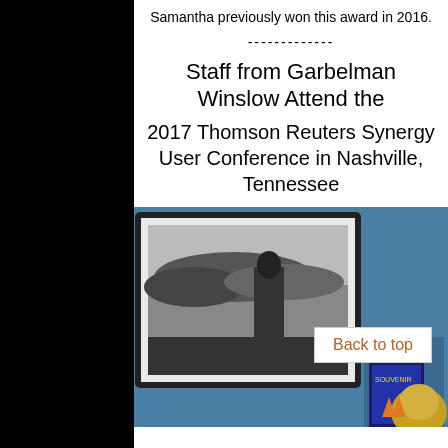Samantha previously won this award in 2016.
-------------
Staff from Garbelman Winslow Attend the
2017 Thomson Reuters Synergy User Conference in Nashville, Tennessee
[Figure (photo): Photo of a person at the 2017 Thomson Reuters Synergy User Conference in Nashville, Tennessee, with a large framed black-and-white photograph visible in the background. A 'Back to top' link overlay is shown on the image.]